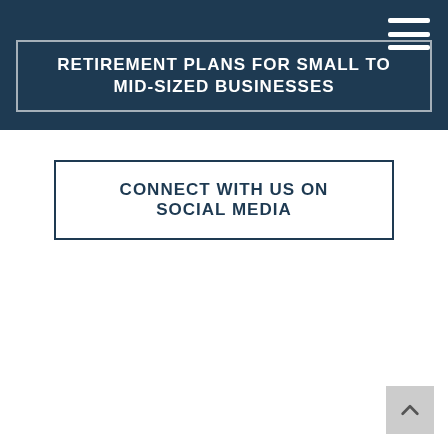RETIREMENT PLANS FOR SMALL TO MID-SIZED BUSINESSES
CONNECT WITH US ON SOCIAL MEDIA